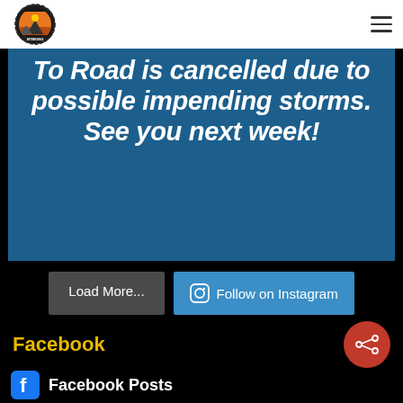[Figure (logo): Circular logo with sun/mountain design]
[Figure (illustration): Blue banner with bold italic white text: 'To Road is cancelled due to possible impending storms. See you next week!']
Load More...
Follow on Instagram
Facebook
Facebook Posts